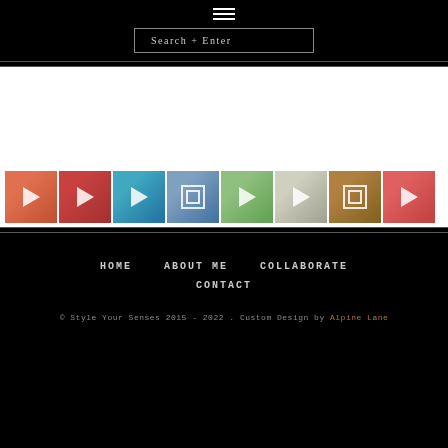[Figure (other): Hamburger menu icon (three horizontal white lines) on black background]
[Figure (other): Search input box with placeholder text 'Search + Enter' on black background]
[Figure (other): Horizontal strip of 8 Instagram thumbnail images with play/gallery icons overlaid, on white background]
HOME
ABOUT ME
COLLABORATE
CONTACT
© Style Your Senses 2015 - 2022 . Custom Design by Alpine Lane